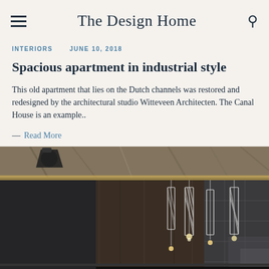The Design Home
INTERIORS   JUNE 10, 2018
Spacious apartment in industrial style
This old apartment that lies on the Dutch channels was restored and redesigned by the architectural studio Witteveen Architecten. The Canal House is an example..
— Read More
[Figure (photo): Interior photo of a modern industrial-style apartment showing pendant lights hanging from a concrete ceiling above dark cabinetry, with a tiled wall visible in the background.]